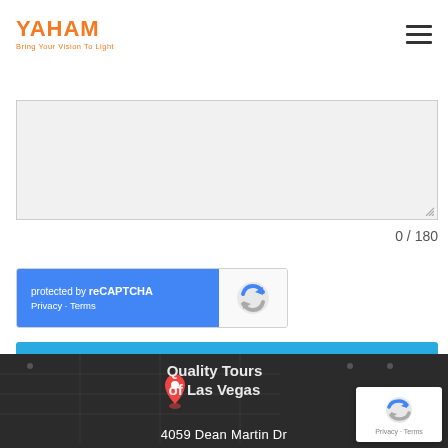[Figure (logo): YAHAM logo with orange text and tagline 'Bring Your Vision To Light']
[Figure (screenshot): Empty textarea form field with resize handle, gray background]
0 / 180
[Figure (screenshot): reCAPTCHA widget with blue left panel showing 'protected by reCAPTCHA' and 'Privacy - Terms', white right panel with reCAPTCHA icon]
Send Message
[Figure (screenshot): Dark footer area with Google Map showing 'Quality Tours of Las Vegas' location marker and address '4059 Dean Martin Dr']
[Figure (screenshot): reCAPTCHA overlay widget in bottom right corner with Privacy - Terms links]